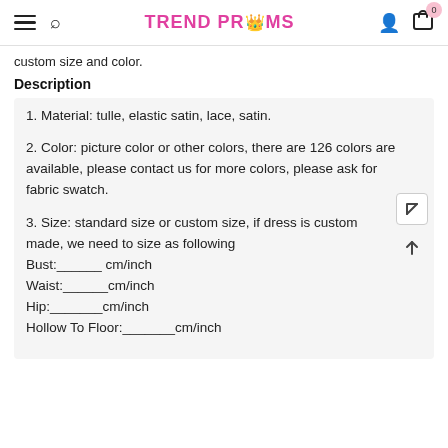TREND PROMS
custom size and color.
Description
1. Material: tulle, elastic satin, lace, satin.
2. Color: picture color or other colors, there are 126 colors are available, please contact us for more colors, please ask for fabric swatch.
3. Size: standard size or custom size, if dress is custom made, we need to size as following
Bust:______ cm/inch
Waist:______cm/inch
Hip:_______cm/inch
Hollow To Floor:_______cm/inch